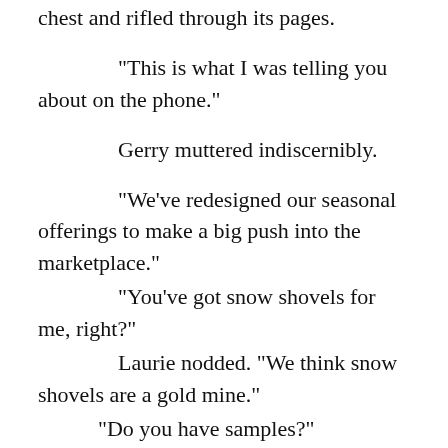chest and rifled through its pages.
“This is what I was telling you about on the phone.”
Gerry muttered indiscernibly.
“We’ve redesigned our seasonal offerings to make a big push into the marketplace.”
“You’ve got snow shovels for me, right?”
Laurie nodded. “We think snow shovels are a gold mine.”
“Do you have samples?”
“Our engineers are bringing product back from overseas next week.”
“But you’ve seen —”
“Pictures and specs. Our design